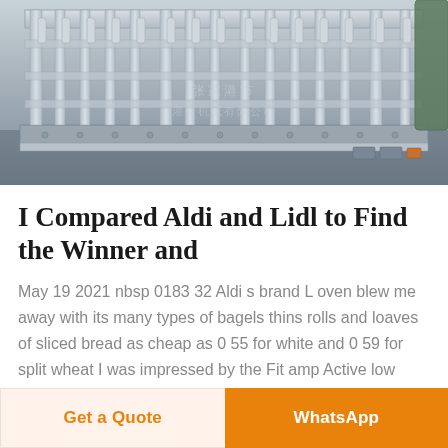[Figure (photo): Industrial filling/packaging machine with metal frame, multiple filling nozzles, and stainless steel components. Chinese watermark text visible across the image.]
I Compared Aldi and Lidl to Find the Winner and
May 19 2021 nbsp 0183 32 Aldi s brand L oven blew me away with its many types of bagels thins rolls and loaves of sliced bread as cheap as 0 55 for white and 0 59 for split wheat I was impressed by the Fit amp Active low calorie low carb loaf of bread for just 1 79
Get a Quote | WhatsApp